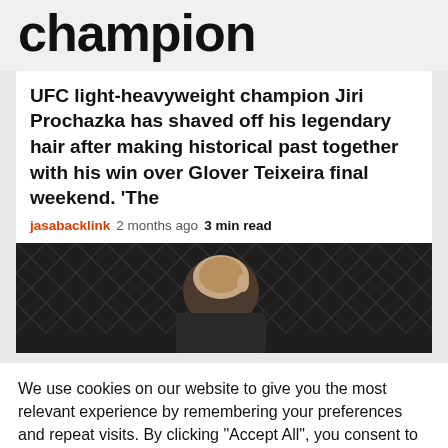champion
UFC light-heavyweight champion Jiri Prochazka has shaved off his legendary hair after making historical past together with his win over Glover Teixeira final weekend. ‘The
jasabacklink  2 months ago  3 min read
[Figure (photo): Photo of a fighter (Jiri Prochazka) with shaved head against a chain-link fence background]
We use cookies on our website to give you the most relevant experience by remembering your preferences and repeat visits. By clicking “Accept All”, you consent to the use of ALL the cookies. However, you may visit "Cookie Settings" to provide a controlled consent.
Cookie Settings  |  Accept All